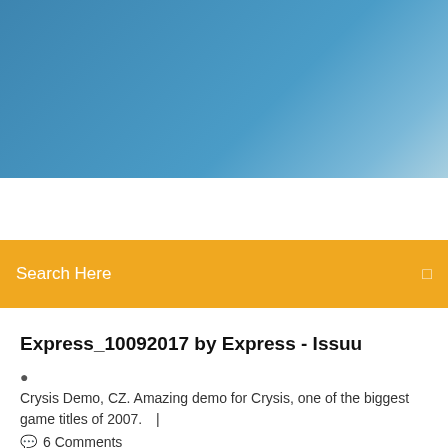[Figure (photo): Blue sky gradient header image]
Search Here
Express_10092017 by Express - Issuu
Crysis Demo, CZ. Amazing demo for Crysis, one of the biggest game titles of 2007.  |
6 Comments
SCRABBLE™ - Apps on Google Play
A great classic game! For as long as I can remember, Scrabble has been one of my all time favorite games! It is